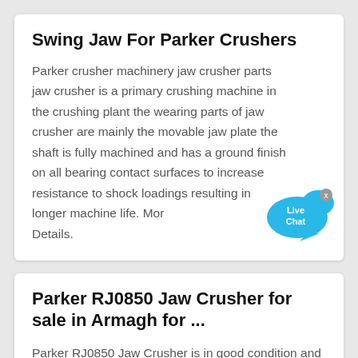Swing Jaw For Parker Crushers
Parker crusher machinery jaw crusher parts jaw crusher is a primary crushing machine in the crushing plant the wearing parts of jaw crusher are mainly the movable jaw plate the shaft is fully machined and has a ground finish on all bearing contact surfaces to increase resistance to shock loadings resulting in longer machine life. More Details.
[Figure (illustration): Live Chat speech bubble icon with 'Live Chat' text in white on blue background, with a small 'x' close button]
Parker RJ0850 Jaw Crusher for sale in Armagh for ...
Parker RJ0850 Jaw Crusher is in good condition and ready for work, In working order and has just been fully checked over. Very Clean Jaw Crusher for sale. Cheap Mobile Jaw Crusher for sale. RockRanger RJ The compact design 23Ton crusher has a big attitude and it is pacifically designed to